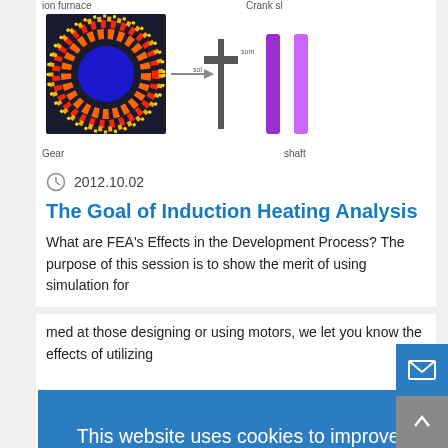[Figure (schematic): Engineering simulation diagram showing ion furnace heat distribution image on left, arrow pointing to crank shaft component in middle, and shaft/rod illustrations on right. Labels: 'ion furnace', 'Crank sl', 'Gear', 'shaft'.]
2012.10.02
The Goal of Induction Heating Analysis
What are FEA's Effects in the Development Process? The purpose of this session is to show the merit of using simulation for
This website uses cookies to improve functionality and performance. If you continue browsing the site, you are giving implied consent to the use of cookies on this website. If you want to know more or refuse consent, read our Cookie Policy .
Accept
med at those designing or using motors, we let you know the effects of utilizing